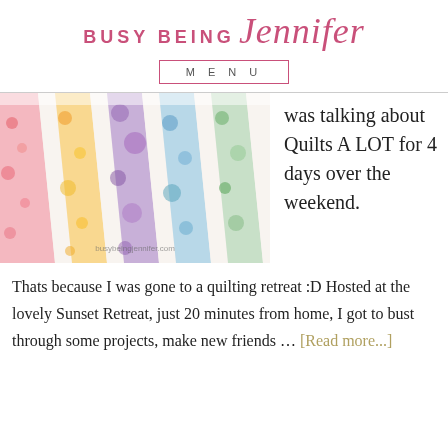BUSY BEING Jennifer
MENU
[Figure (photo): Colorful floral quilts displayed vertically side by side with watermark busybeingjennifer.com]
was talking about Quilts A LOT for 4 days over the weekend.
Thats because I was gone to a quilting retreat :D Hosted at the lovely Sunset Retreat, just 20 minutes from home, I got to bust through some projects, make new friends … [Read more...]